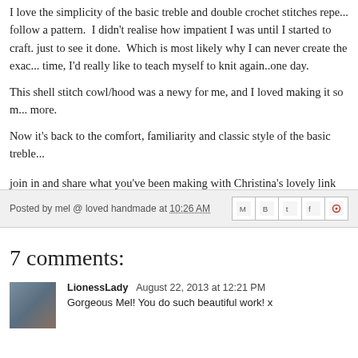I love the simplicity of the basic treble and double crochet stitches repe... follow a pattern. I didn't realise how impatient I was until I started to craft. just to see it done. Which is most likely why I can never create the exac... time, I'd really like to teach myself to knit again..one day.
This shell stitch cowl/hood was a newy for me, and I loved making it so m... more.
Now it's back to the comfort, familiarity and classic style of the basic treble...
join in and share what you've been making with Christina's lovely link mad...
Posted by mel @ loved handmade at 10:26 AM
7 comments:
LionessLady  August 22, 2013 at 12:21 PM
Gorgeous Mel! You do such beautiful work! x